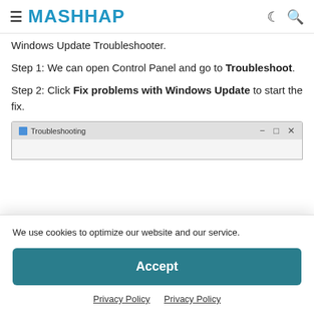MASHHAP
Windows Update Troubleshooter.
Step 1: We can open Control Panel and go to Troubleshoot.
Step 2: Click Fix problems with Windows Update to start the fix.
[Figure (screenshot): Windows Troubleshooting dialog screenshot showing title bar with minimize, maximize, close buttons]
We use cookies to optimize our website and our service.
Accept
Privacy Policy   Privacy Policy